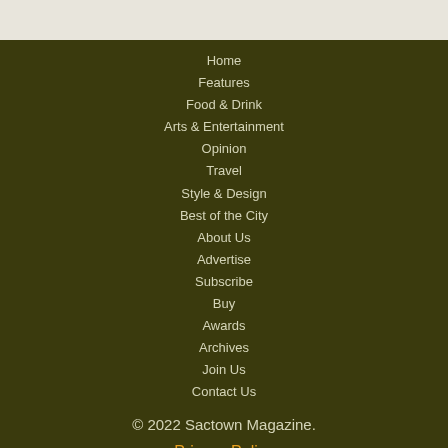Home
Features
Food & Drink
Arts & Entertainment
Opinion
Travel
Style & Design
Best of the City
About Us
Advertise
Subscribe
Buy
Awards
Archives
Join Us
Contact Us
© 2022 Sactown Magazine.
Privacy Policy
[Figure (logo): TN logo with orange T and blue N, with 'Town News' text below]